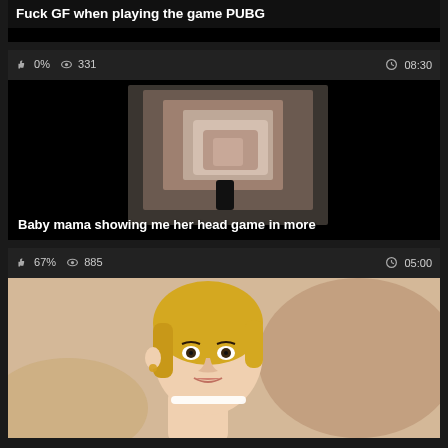Fuck GF when playing the game PUBG
0%   331   08:30
[Figure (photo): Dark video thumbnail showing a blurry close-up with center lighter image area]
Baby mama showing me her head game in more
67%   885   05:00
[Figure (photo): Animated/3D character with blonde hair and choker necklace]